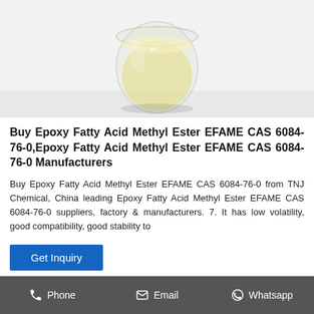[Figure (photo): Product photo showing a small glass beaker/bottle containing a pale yellow liquid (Epoxy Fatty Acid Methyl Ester EFAME) on a white background.]
Buy Epoxy Fatty Acid Methyl Ester EFAME CAS 6084-76-0,Epoxy Fatty Acid Methyl Ester EFAME CAS 6084-76-0 Manufacturers
Buy Epoxy Fatty Acid Methyl Ester EFAME CAS 6084-76-0 from TNJ Chemical, China leading Epoxy Fatty Acid Methyl Ester EFAME CAS 6084-76-0 suppliers, factory & manufacturers. 7. It has low volatility, good compatibility, good stability to
Get Inquiry
Phone   Email   Whatsapp